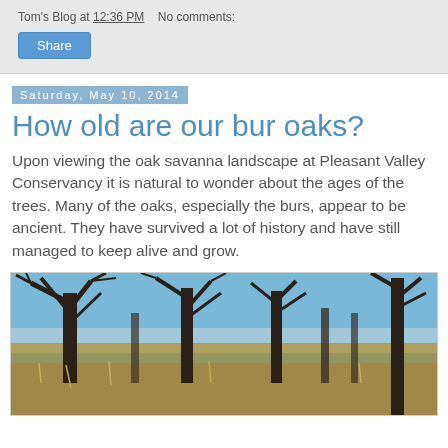Tom's Blog at 12:36 PM   No comments:
Share
Saturday, May 10, 2014
How old are our bur oaks?
Upon viewing the oak savanna landscape at Pleasant Valley Conservancy it is natural to wonder about the ages of the trees. Many of the oaks, especially the burs, appear to be ancient. They have survived a lot of history and have still managed to keep alive and grow.
[Figure (photo): Photograph of bare bur oak trees in a savanna landscape with dry grass and blue sky background at Pleasant Valley Conservancy]